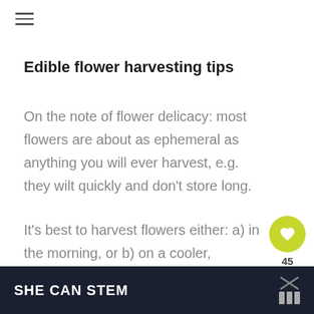≡
Edible flower harvesting tips
On the note of flower delicacy: most flowers are about as ephemeral as anything you will ever harvest, e.g. they wilt quickly and don't store long.

It's best to harvest flowers either: a) in the morning, or b) on a cooler, overcast day. If you're not going to use
SHE CAN STEM